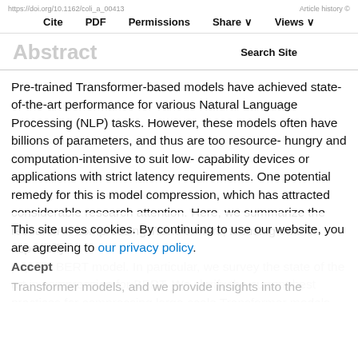https://doi.org/10.1162/coli_a_00413   Article history   Cite   PDF   Permissions   Share   Views
Abstract
Search Site
Pre-trained Transformer-based models have achieved state-of-the-art performance for various Natural Language Processing (NLP) tasks. However, these models often have billions of parameters, and thus are too resource- hungry and computation-intensive to suit low- capability devices or applications with strict latency requirements. One potential remedy for this is model compression, which has attracted considerable research attention. Here, we summarize the research in compressing Transformers, focusing on the especially popular BERT model. In particular, we survey the state of the art in compression for BERT. We clarify the current best practices for compressing large-scale Transformer models, and we provide insights into the
This site uses cookies. By continuing to use our website, you are agreeing to our privacy policy. Accept